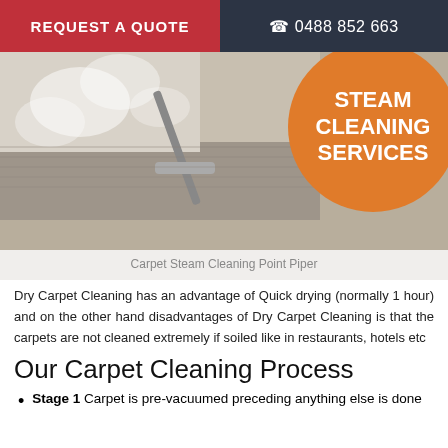REQUEST A QUOTE   ☎ 0488 852 663
[Figure (photo): Carpet steam cleaning in progress with steam visible, orange circle badge reading STEAM CLEANING SERVICES]
Carpet Steam Cleaning Point Piper
Dry Carpet Cleaning has an advantage of Quick drying (normally 1 hour) and on the other hand disadvantages of Dry Carpet Cleaning is that the carpets are not cleaned extremely if soiled like in restaurants, hotels etc
Our Carpet Cleaning Process
Stage 1 Carpet is pre-vacuumed preceding anything else is done